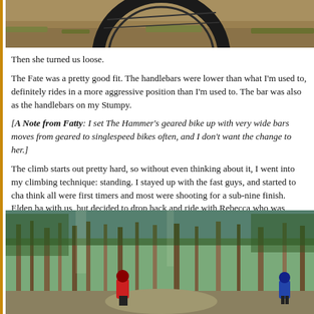[Figure (photo): Top portion of a mountain bike tire/wheel resting on grass/dirt ground, cropped view from above]
Then she turned us loose.
The Fate was a pretty good fit. The handlebars were lower than what I'm used to, definitely rides in a more aggressive position than I'm used to. The bar was also as the handlebars on my Stumpy.
[A Note from Fatty: I set The Hammer's geared bike up with very wide bars moves from geared to singlespeed bikes often, and I don't want the change to her.]
The climb starts out pretty hard, so without even thinking about it, I went into my climbing technique: standing. I stayed up with the fast guys, and started to cha think all were first timers and most were shooting for a sub-nine finish. Elden ha with us, but decided to drop back and ride with Rebecca who was taking the time everyone!
[Figure (photo): Two mountain bikers riding through a tall aspen/pine forest on a dirt trail, sunny day, one rider in red and one in blue]